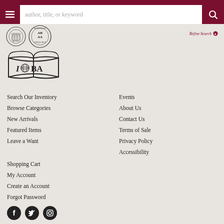author, title, or keyword
[Figure (logo): IOBA (International Occasional Booksellers Association) logo with an open book and globe]
Search Our Inventory
Browse Categories
New Arrivals
Featured Items
Leave a Want
Events
About Us
Contact Us
Terms of Sale
Privacy Policy
Accessibility
Shopping Cart
My Account
Create an Account
Forgot Password